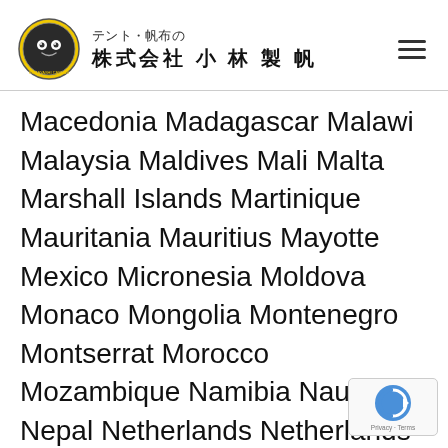テント・帆布の 株式会社 小林製帆
Macedonia Madagascar Malawi Malaysia Maldives Mali Malta Marshall Islands Martinique Mauritania Mauritius Mayotte Mexico Micronesia Moldova Monaco Mongolia Montenegro Montserrat Morocco Mozambique Namibia Nauru Nepal Netherlands Netherlands Antilles New Caledonia New Zealand Nicaragua Niger Nigeria Niue Norway Oman Pakistan Palau Panama Papua New Guinea Paraguay Peru Philippines Poland Portugal Puerto Rico Qatar Reunion Romania Russian Federation Rwanda Saint Helena Saint